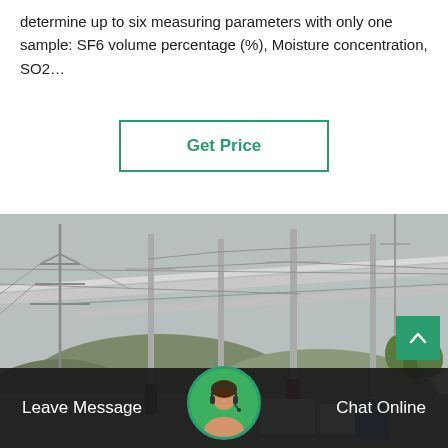determine up to six measuring parameters with only one sample: SF6 volume percentage (%), Moisture concentration, SO2…
Get Price
[Figure (photo): Outdoor electrical substation with high-voltage transmission lines, insulators, metal structures, and equipment including transformers, against a hilly background under overcast sky.]
Leave Message
Chat Online